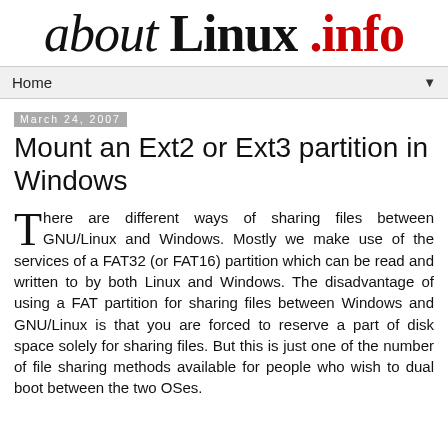about Linux .info
Home
March 24, 2007
Mount an Ext2 or Ext3 partition in Windows
There are different ways of sharing files between GNU/Linux and Windows. Mostly we make use of the services of a FAT32 (or FAT16) partition which can be read and written to by both Linux and Windows. The disadvantage of using a FAT partition for sharing files between Windows and GNU/Linux is that you are forced to reserve a part of disk space solely for sharing files. But this is just one of the number of file sharing methods available for people who wish to dual boot between the two OSes.